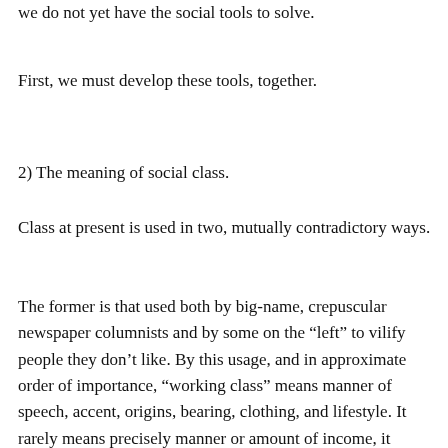we do not yet have the social tools to solve.
First, we must develop these tools, together.
2) The meaning of social class.
Class at present is used in two, mutually contradictory ways.
The former is that used both by big-name, crepuscular newspaper columnists and by some on the “left” to vilify people they don’t like. By this usage, and in approximate order of importance, “working class” means manner of speech, accent, origins, bearing, clothing, and lifestyle. It rarely means precisely manner or amount of income, it usually doesn’t account for any other factors whatsoever,